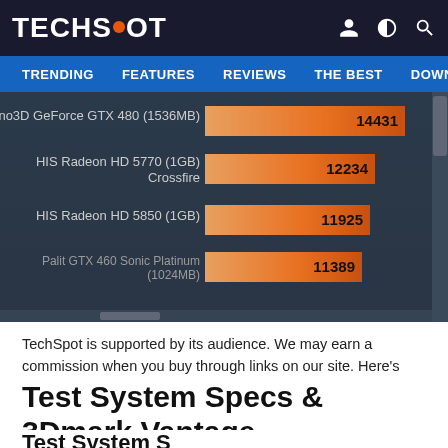TECHSPOT — TRENDING | FEATURES | REVIEWS | THE BEST | DOWNLC
[Figure (bar-chart): GPU Benchmark Scores]
TechSpot is supported by its audience. We may earn a commission when you buy through links on our site. Here's why you can trust us.
Test System Specs & 3Dmark Vantage
Test System S